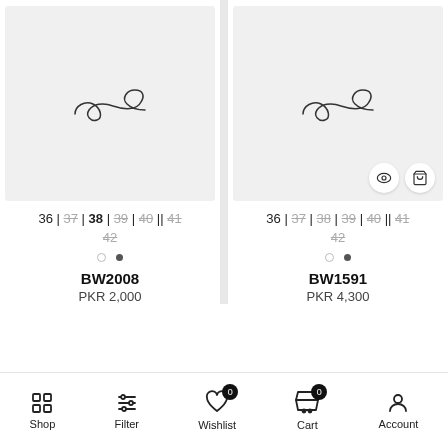[Figure (screenshot): Product image placeholder with brand logo (infinity-like script) on light grey background for BW2008]
36 | 37 | 38 | 39 | 40 || 41
42
. •
BW2008
PKR 2,000
[Figure (screenshot): Product image placeholder with brand logo (infinity-like script) on light grey background for BW1591, with quick view and cart action buttons]
36 | 37 | 38 | 39 | 40 || 41
42
. •
BW1591
PKR 4,300
Shop  Filter  Wishlist 0  Cart 0  Account